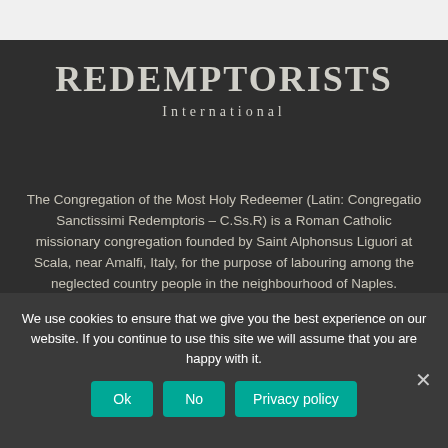REDEMPTORISTS International
The Congregation of the Most Holy Redeemer (Latin: Congregatio Sanctissimi Redemptoris – C.Ss.R) is a Roman Catholic missionary congregation founded by Saint Alphonsus Liguori at Scala, near Amalfi, Italy, for the purpose of labouring among the neglected country people in the neighbourhood of Naples. Members of the Congregation, Catholic priests, and consecrated religious brothers, are known as Redemptorists.
We use cookies to ensure that we give you the best experience on our website. If you continue to use this site we will assume that you are happy with it.